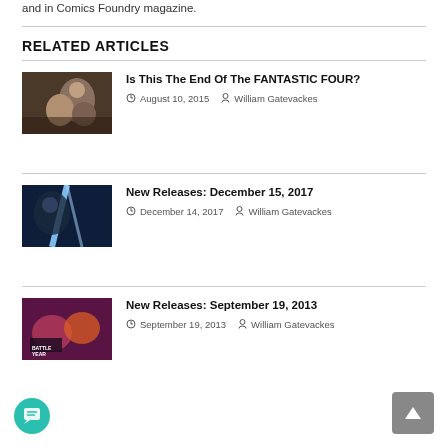and in Comics Foundry magazine.
RELATED ARTICLES
Is This The End Of The FANTASTIC FOUR?
August 10, 2015  William Gatevackes
New Releases: December 15, 2017
December 14, 2017  William Gatevackes
New Releases: September 19, 2013
September 19, 2013  William Gatevackes